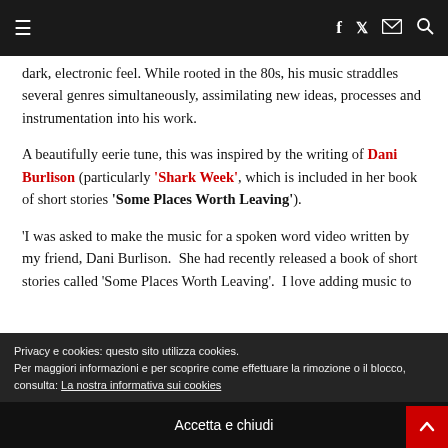≡  f  🐦  ✉  🔍
dark, electronic feel. While rooted in the 80s, his music straddles several genres simultaneously, assimilating new ideas, processes and instrumentation into his work.
A beautifully eerie tune, this was inspired by the writing of Dani Burlison (particularly 'Shark Week', which is included in her book of short stories 'Some Places Worth Leaving').
'I was asked to make the music for a spoken word video written by my friend, Dani Burlison.  She had recently released a book of short stories called 'Some Places Worth Leaving'.  I love adding music to fl…
Privacy e cookies: questo sito utilizza cookies.
Per maggiori informazioni e per scoprire come effettuare la rimozione o il blocco, consulta: La nostra informativa sui cookies
Accetta e chiudi